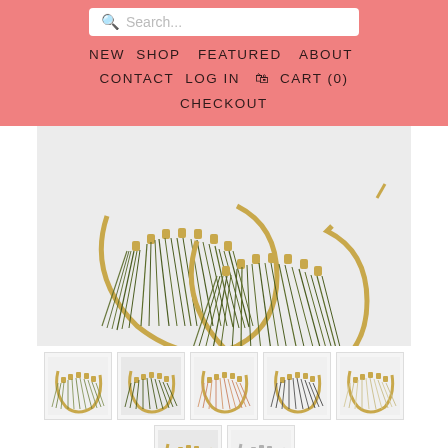Search... | NEW | SHOP | FEATURED | ABOUT | CONTACT | LOG IN | CART (0) | CHECKOUT
[Figure (photo): Two olive green fringe tassel hoop earrings with gold bead accents on a white background]
[Figure (photo): Thumbnail 1: Green fringe tassel hoop earrings]
[Figure (photo): Thumbnail 2: Olive fringe tassel hoop earrings]
[Figure (photo): Thumbnail 3: Pink/blush fringe tassel hoop earrings]
[Figure (photo): Thumbnail 4: Dark gray fringe tassel hoop earrings]
[Figure (photo): Thumbnail 5: White/cream fringe tassel hoop earrings]
[Figure (photo): Thumbnail 6: Charcoal/dark fringe tassel hoop earrings]
[Figure (photo): Thumbnail 7: Silver/white fringe tassel hoop earrings]